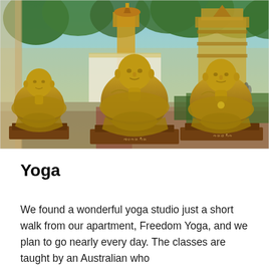[Figure (photo): Three golden/bronze Buddhist monk statues seated in meditation pose on red/brown bases, photographed at a Thai temple with golden stupas and green trees visible in the background.]
Yoga
We found a wonderful yoga studio just a short walk from our apartment, Freedom Yoga, and we plan to go nearly every day. The classes are taught by an Australian who